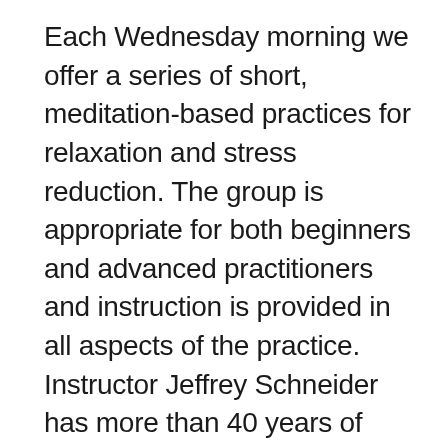Each Wednesday morning we offer a series of short, meditation-based practices for relaxation and stress reduction. The group is appropriate for both beginners and advanced practitioners and instruction is provided in all aspects of the practice. Instructor Jeffrey Schneider has more than 40 years of meditation and teaching experience. It is a virtual class using the Zoom platform—everyone is welcome as little or often as they like. Dial in, find a comfortable position, breathe deeply, clear your head, and de-stress. For more information contact Jaclyne Atoigue at